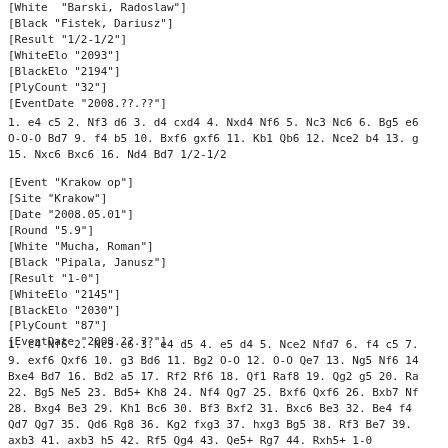[White "Barski, Radoslaw"]
[Black "Fistek, Dariusz"]
[Result "1/2-1/2"]
[WhiteElo "2093"]
[BlackElo "2194"]
[PlyCount "32"]
[EventDate "2008.??.??"]
1. e4 c5 2. Nf3 d6 3. d4 cxd4 4. Nxd4 Nf6 5. Nc3 Nc6 6. Bg5 e6
O-O-O Bd7 9. f4 b5 10. Bxf6 gxf6 11. Kb1 Qb6 12. Nce2 b4 13. g
15. Nxc6 Bxc6 16. Nd4 Bd7 1/2-1/2
[Event "Krakow op"]
[Site "Krakow"]
[Date "2008.05.01"]
[Round "5.9"]
[White "Mucha, Roman"]
[Black "Pipala, Janusz"]
[Result "1-0"]
[WhiteElo "2145"]
[BlackElo "2030"]
[PlyCount "87"]
[EventDate "2008.??.??"]
1. c4 Nf6 2. Nc3 e6 3. e4 d5 4. e5 d4 5. Nce2 Nfd7 6. f4 c5 7.
9. exf6 Qxf6 10. g3 Bd6 11. Bg2 O-O 12. O-O Qe7 13. Ng5 Nf6 14
Bxe4 Bd7 16. Bd2 a5 17. Rf2 Rf6 18. Qf1 Raf8 19. Qg2 g5 20. Ra
22. Bg5 Ne5 23. Bd5+ Kh8 24. Nf4 Qg7 25. Bxf6 Qxf6 26. Bxb7 Nf
28. Bxg4 Be3 29. Kh1 Bc6 30. Bf3 Bxf2 31. Bxc6 Be3 32. Be4 f4
Qd7 Qg7 35. Qd6 Rg8 36. Kg2 fxg3 37. hxg3 Bg5 38. Rf3 Be7 39.
axb3 41. axb3 h5 42. Rf5 Qg4 43. Qe5+ Rg7 44. Rxh5+ 1-0